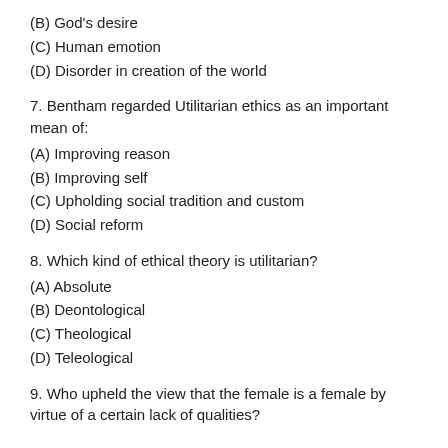(B) God's desire
(C) Human emotion
(D) Disorder in creation of the world
7. Bentham regarded Utilitarian ethics as an important mean of:
(A) Improving reason
(B) Improving self
(C) Upholding social tradition and custom
(D) Social reform
8. Which kind of ethical theory is utilitarian?
(A) Absolute
(B) Deontological
(C) Theological
(D) Teleological
9. Who upheld the view that the female is a female by virtue of a certain lack of qualities?